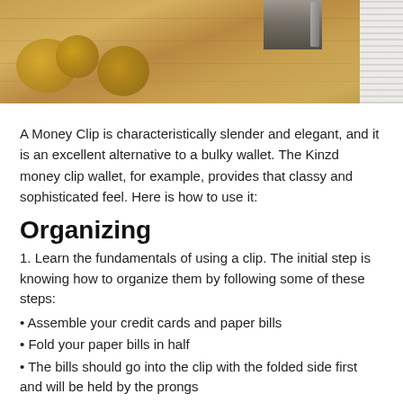[Figure (photo): Photo of coins scattered on a wooden surface with a money clip visible at top, and a white cylindrical object on the right edge]
A Money Clip is characteristically slender and elegant, and it is an excellent alternative to a bulky wallet. The Kinzd money clip wallet, for example, provides that classy and sophisticated feel. Here is how to use it:
Organizing
1. Learn the fundamentals of using a clip. The initial step is knowing how to organize them by following some of these steps:
• Assemble your credit cards and paper bills
• Fold your paper bills in half
• The bills should go into the clip with the folded side first and will be held by the prongs
• The credit cards go under the prong
• Fit it in your pocket